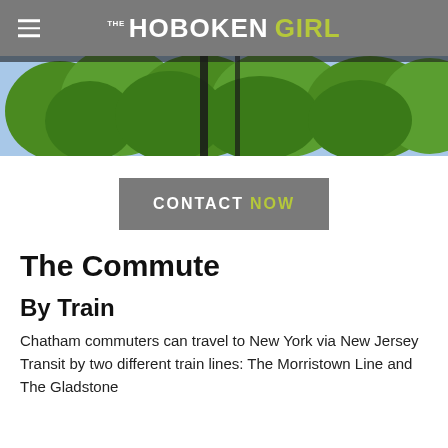THE HOBOKEN GIRL
[Figure (photo): Outdoor photo showing green trees through a window frame or fence structure, taken from inside looking out.]
[Figure (other): Gray button with text CONTACT NOW where NOW is in green/yellow color]
The Commute
By Train
Chatham commuters can travel to New York via New Jersey Transit by two different train lines: The Morristown Line and The Gladstone